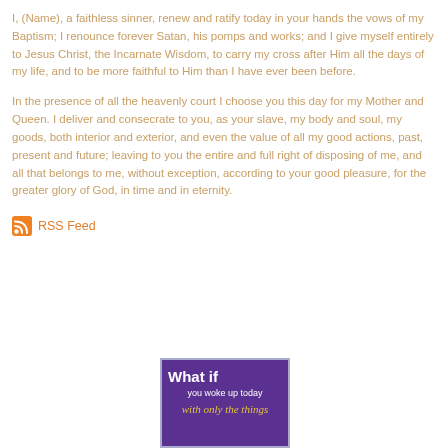I, (Name), a faithless sinner, renew and ratify today in your hands the vows of my Baptism; I renounce forever Satan, his pomps and works; and I give myself entirely to Jesus Christ, the Incarnate Wisdom, to carry my cross after Him all the days of my life, and to be more faithful to Him than I have ever been before.
In the presence of all the heavenly court I choose you this day for my Mother and Queen. I deliver and consecrate to you, as your slave, my body and soul, my goods, both interior and exterior, and even the value of all my good actions, past, present and future; leaving to you the entire and full right of disposing of me, and all that belongs to me, without exception, according to your good pleasure, for the greater glory of God, in time and in eternity.
RSS Feed
[Figure (illustration): Purple background image with white bold text 'What if' and smaller text 'you woke up today' and italic text 'with only the things']